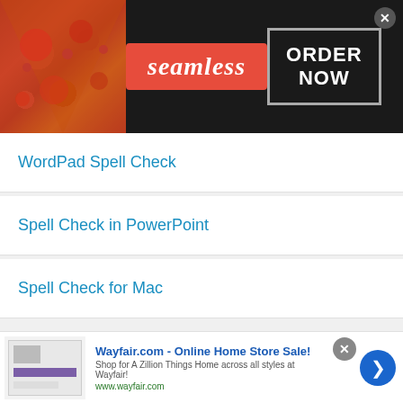[Figure (screenshot): Seamless food delivery advertisement banner with pizza image, Seamless logo in red, and ORDER NOW button]
WordPad Spell Check
Spell Check in PowerPoint
Spell Check for Mac
Privacy Policy
© 2011-2022 DomainOptions, Inc. Trademarks belong to their respective owners. All rights reserved.
[Figure (screenshot): Wayfair.com online home store sale advertisement with store image, title, description and arrow button]